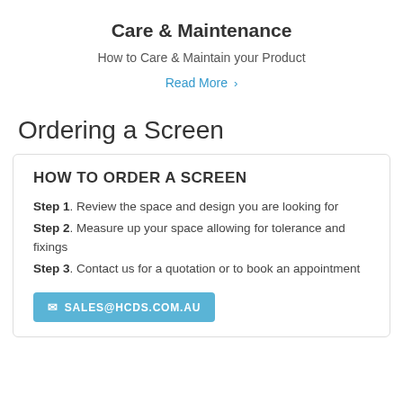Care & Maintenance
How to Care & Maintain your Product
Read More >
Ordering a Screen
HOW TO ORDER A SCREEN
Step 1. Review the space and design you are looking for
Step 2. Measure up your space allowing for tolerance and fixings
Step 3. Contact us for a quotation or to book an appointment
SALES@HCDS.COM.AU